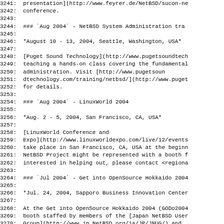3241:  presentation](http://www.feyrer.de/NetBSD/sucon-ne
3242:  conference.
3243:
3244:  ### `Aug 2004` - NetBSD System Administration tra
3245:
3246:  *August 10 - 13, 2004, Seattle, Washington, USA*
3247:
3248:  [Puget Sound Technology](http://www.pugetsoundtech
3249:  teaching a hands-on class covering the fundamental
3250:  administration. Visit [http://www.pugetsoun
3251:  dtechnology.com/training/netbsd/](http://www.puget
3252:  for details.
3253:
3254:  ### `Aug 2004` - LinuxWorld 2004
3255:
3256:  *Aug. 2 - 5, 2004, San Francisco, CA, USA*
3257:
3258:  [LinuxWorld Conference and
3259:  Expo](http://www.linuxworldexpo.com/live/12/events
3260:  take place in San Francisco, CA, USA at the beginn
3261:  NetBSD Project might be represented with a booth f
3262:  interested in helping out, please contact <regiona
3263:
3264:  ### `Jul 2004` - Get into OpenSource Hokkaido 2004
3265:
3266:  *Jul. 24, 2004, Sapporo Business Innovation Center
3267:
3268:  At the Get into OpenSource Hokkaido 2004 (GODo2004
3269:  booth staffed by members of the [Japan NetBSD User
3270:  Group](http://www.jp.NetBSD.org/ja/JP/JNUG/) and